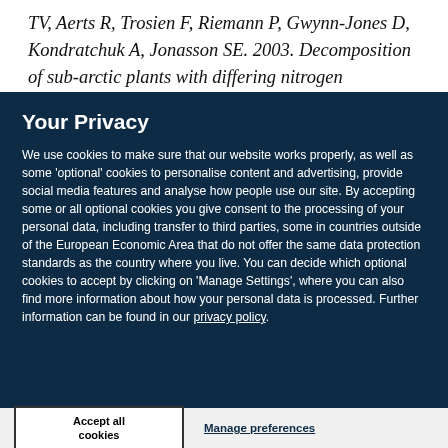TV, Aerts R, Trosien F, Riemann P, Gwynn-Jones D, Kondratchuk A, Jonasson SE. 2003. Decomposition of sub-arctic plants with differing nitrogen economies: a
Your Privacy
We use cookies to make sure that our website works properly, as well as some 'optional' cookies to personalise content and advertising, provide social media features and analyse how people use our site. By accepting some or all optional cookies you give consent to the processing of your personal data, including transfer to third parties, some in countries outside of the European Economic Area that do not offer the same data protection standards as the country where you live. You can decide which optional cookies to accept by clicking on 'Manage Settings', where you can also find more information about how your personal data is processed. Further information can be found in our privacy policy.
Accept all cookies
Manage preferences